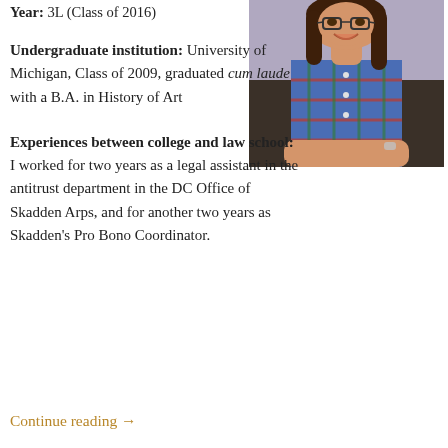Year: 3L (Class of 2016)
[Figure (photo): Young woman with glasses and long dark hair, wearing a blue plaid shirt, sitting on a leather couch and smiling]
Undergraduate institution: University of Michigan, Class of 2009, graduated cum laude with a B.A. in History of Art
Experiences between college and law school: I worked for two years as a legal assistant in the antitrust department in the DC Office of Skadden Arps, and for another two years as Skadden's Pro Bono Coordinator.
Continue reading →